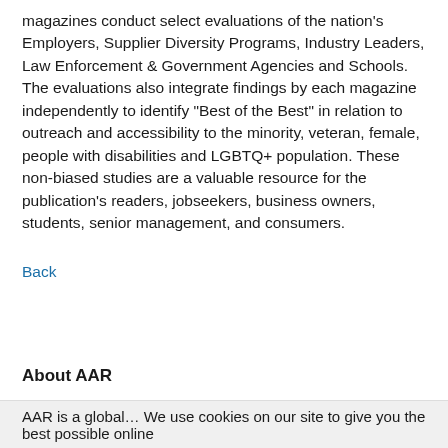magazines conduct select evaluations of the nation's Employers, Supplier Diversity Programs, Industry Leaders, Law Enforcement & Government Agencies and Schools. The evaluations also integrate findings by each magazine independently to identify "Best of the Best" in relation to outreach and accessibility to the minority, veteran, female, people with disabilities and LGBTQ+ population. These non-biased studies are a valuable resource for the publication's readers, jobseekers, business owners, students, senior management, and consumers.
Back
About AAR
AAR is a global... We use cookies on our site to give you the best possible online